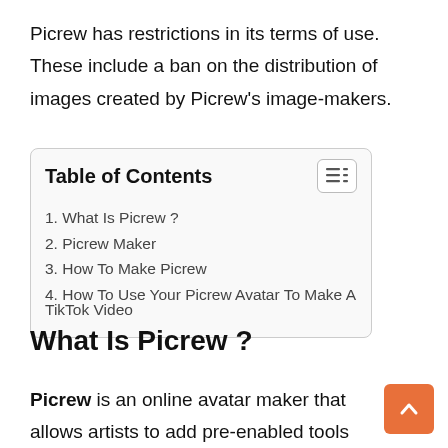Picrew has restrictions in its terms of use. These include a ban on the distribution of images created by Picrew's image-makers.
| Table of Contents |
| --- |
| 1. What Is Picrew ? |
| 2. Picrew Maker |
| 3. How To Make Picrew |
| 4. How To Use Your Picrew Avatar To Make A TikTok Video |
What Is Picrew ?
Picrew is an online avatar maker that allows artists to add pre-enabled tools so that other